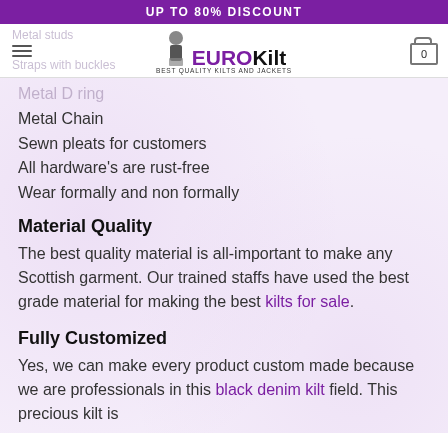UP TO 80% DISCOUNT
[Figure (logo): EuroKilt logo with figure in dress and text BEST QUALITY KILTS AND JACKETS]
Metal studs
Straps with buckles
Metal D ring
Metal Chain
Sewn pleats for customers
All hardware's are rust-free
Wear formally and non formally
Material Quality
The best quality material is all-important to make any Scottish garment. Our trained staffs have used the best grade material for making the best kilts for sale.
Fully Customized
Yes, we can make every product custom made because we are professionals in this black denim kilt field. This precious kilt is